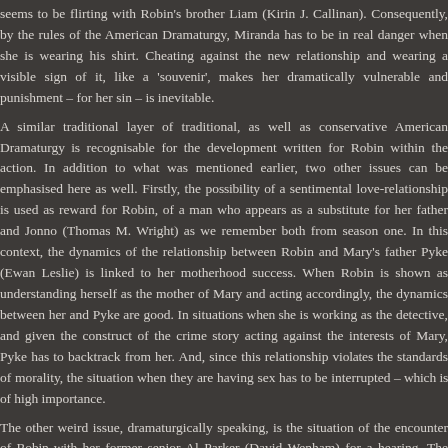seems to be flirting with Robin's brother Liam (Kirin J. Callinan). Consequently, by the rules of the American Dramaturgy, Miranda has to be in real danger when she is wearing his shirt. Cheating against the new relationship and wearing a visible sign of it, like a 'souvenir', makes her dramatically vulnerable and punishment – for her sin – is inevitable.
A similar traditional layer of traditional, as well as conservative American Dramaturgy is recognisable for the development written for Robin within the action. In addition to what was mentioned earlier, two other issues can be emphasised here as well. Firstly, the possibility of a sentimental love-relationship is used as reward for Robin, of a man who appears as a substitute for her father and Jonno (Thomas M. Wright) as we remember both from season one. In this context, the dynamics of the relationship between Robin and Mary's father Pyke (Ewan Leslie) is linked to her motherhood success. When Robin is shown as understanding herself as the mother of Mary and acting accordingly, the dynamics between her and Pyke are good. In situations when she is working as the detective, and given the construct of the crime story acting against the interests of Mary, Pyke has to backtrack from her. And, since this relationship violates the standards of morality, the situation when they are having sex has to be interrupted – which is of high importance.
The other weird issue, dramaturgically speaking, is the situation of the encounter of Robin with her former senior Al Parker (David Wenham) for a hearing. The overall story creates the impression that some years lay between the end of season one – Robin shooting Al – and the beginning of season two. Robin had three miscarriages, and as we can see, Al has a new partner and two children. The boy must be about five or at least four years old, to estima